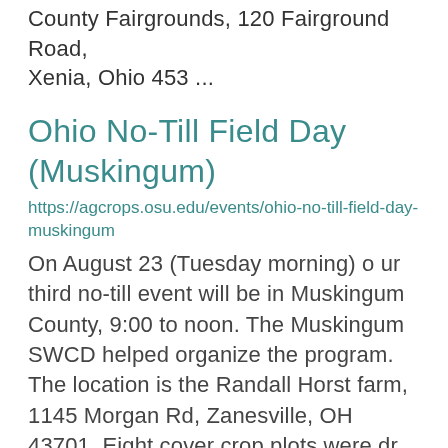County Fairgrounds, 120 Fairground Road, Xenia, Ohio 453 ...
Ohio No-Till Field Day (Muskingum)
https://agcrops.osu.edu/events/ohio-no-till-field-day-muskingum
On August 23 (Tuesday morning) o ur third no-till event will be in Muskingum County, 9:00 to noon. The Muskingum SWCD helped organize the program. The location is the Randall Horst farm, 1145 Morgan Rd, Zanesville, OH 43701. Eight cover crop plots were dr ...
...